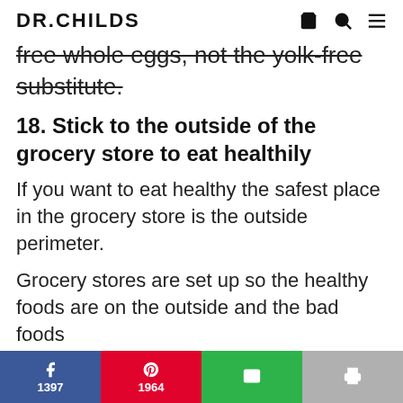DR.CHILDS
free whole eggs, not the yolk-free substitute.
18. Stick to the outside of the grocery store to eat healthily
If you want to eat healthy the safest place in the grocery store is the outside perimeter.
Grocery stores are set up so the healthy foods are on the outside and the bad foods
f 1397  1964  [email icon]  [print icon]